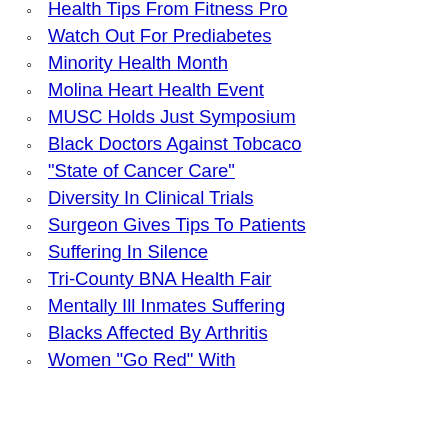Info
Health Tips From Fitness Pro
Watch Out For Prediabetes
Minority Health Month
Molina Heart Health Event
MUSC Holds Just Symposium
Black Doctors Against Tobcaco
"State of Cancer Care"
Diversity In Clinical Trials
Surgeon Gives Tips To Patients
Suffering In Silence
Tri-County BNA Health Fair
Mentally Ill Inmates Suffering
Blacks Affected By Arthritis
Women "Go Red" With